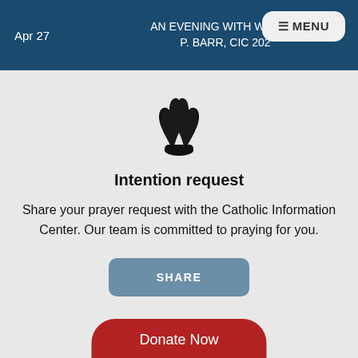Apr 27 | AN EVENING WITH WILLIAM P. BARR, CIC 202 | MENU
[Figure (illustration): Praying hands icon, black silhouette on light gray background]
Intention request
Share your prayer request with the Catholic Information Center. Our team is committed to praying for you.
SHARE
Donate Now